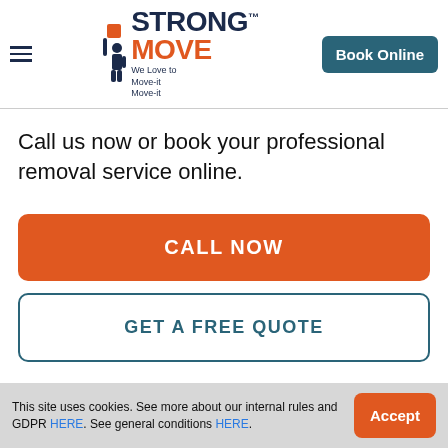STRONG MOVE™ — We Love to Move-it Move-it | Book Online
Call us now or book your professional removal service online.
CALL NOW
GET A FREE QUOTE
This site uses cookies. See more about our internal rules and GDPR HERE. See general conditions HERE. | Accept